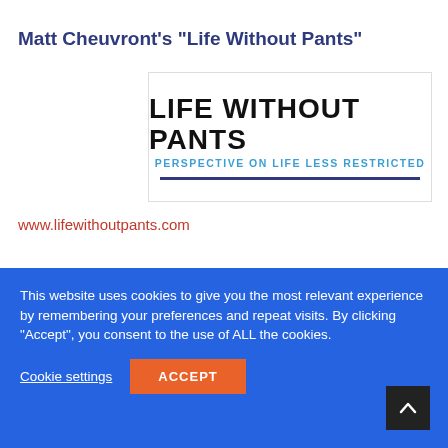Matt Cheuvront's “Life Without Pants”
[Figure (logo): Life Without Pants blog logo: large bold black text 'LIFE WITHOUT PANTS' with blue subtitle 'PERSPECTIVE ON LIFE LESS RESTRICTED' and a dark blue horizontal rule below]
www.lifewithoutpants.com
This website uses cookies to give you the most relevant experience by remembering your preferences and repeat visits. By clicking “Accept”, you consent to the use of ALL the cookies.
Cookie settings
ACCEPT